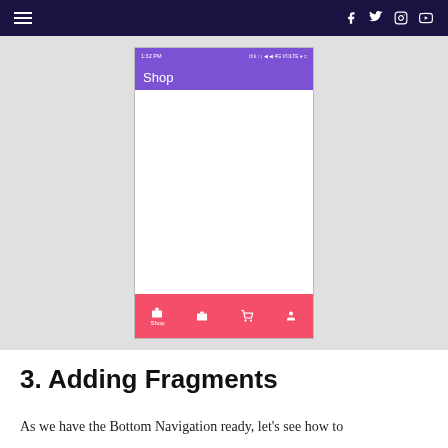☰   f  🐦  📷  ▶
[Figure (screenshot): Android app screenshot showing a mobile UI with a purple top app bar labeled 'Shop', a white content area, and a red/pink bottom navigation bar with four icons: Shop (selected), a briefcase/work icon, a cart icon, and a person icon.]
3. Adding Fragments
As we have the Bottom Navigation ready, let's see how to